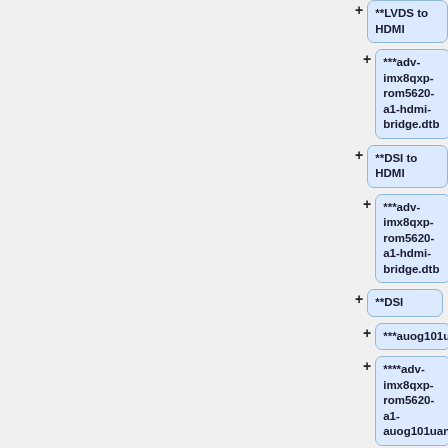**LVDS to HDMI
***adv-imx8qxp-rom5620-a1-hdmi-bridge.dtb
**DSI to HDMI
***adv-imx8qxp-rom5620-a1-hdmi-bridge.dtb
**DSI
***auog101uan02
****adv-imx8qxp-rom5620-a1-auog101uan02.dtb
*M.2 SDIO